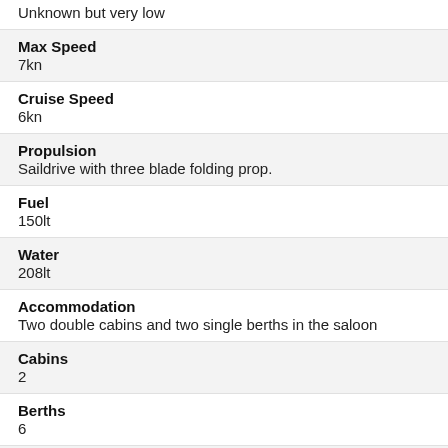Unknown but very low
Max Speed
7kn
Cruise Speed
6kn
Propulsion
Saildrive with three blade folding prop.
Fuel
150lt
Water
208lt
Accommodation
Two double cabins and two single berths in the saloon
Cabins
2
Berths
6
Galley